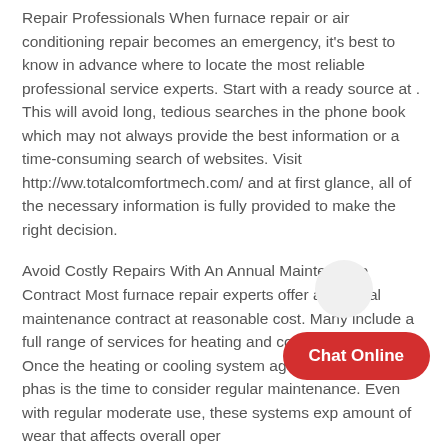Repair Professionals When furnace repair or air conditioning repair becomes an emergency, it's best to know in advance where to locate the most reliable professional service experts. Start with a ready source at . This will avoid long, tedious searches in the phone book which may not always provide the best information or a time-consuming search of websites. Visit http://ww.totalcomfortmech.com/ and at first glance, all of the necessary information is fully provided to make the right decision.
Avoid Costly Repairs With An Annual Maintenance Contract Most furnace repair experts offer an annual maintenance contract at reasonable cost. Many include a full range of services for heating and cooling maintenance. Once the heating or cooling system ages past its warranty phase, is the time to consider regular maintenance. Even with regular moderate use, these systems experience an amount of wear that affects overall operation. Having a heating or air system should be properly adjusted to...